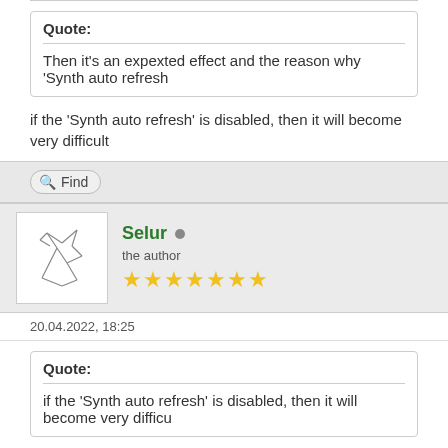Quote:
Then it's an expexted effect and the reason why 'Synth auto refresh
if the 'Synth auto refresh' is disabled, then it will become very difficult
Selur • the author ★★★★★★★
20.04.2022, 18:25
Quote:
if the 'Synth auto refresh' is disabled, then it will become very difficu
Still there is nothing I can do about it.
-> Either don't use Hybrid or live with the fact that you sometimes hav